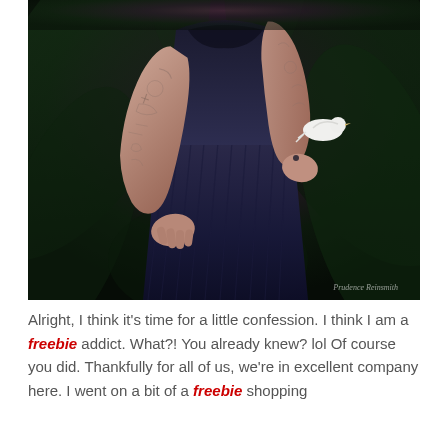[Figure (photo): A woman with extensive tattoos on her arms wearing a black pleated dress, holding a white bird on her right hand. Dark tropical foliage in the background. Watermark reads 'Prudence Reinsmith' in bottom right.]
Alright, I think it's time for a little confession. I think I am a freebie addict. What?! You already knew? lol Of course you did. Thankfully for all of us, we're in excellent company here. I went on a bit of a freebie shopping